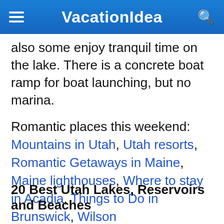VacationIdea
also some enjoy tranquil time on the lake. There is a concrete boat ramp for boat launching, but no marina.
Romantic places this weekend: Mountains in Utah, Utah resorts, Romantic Getaways in Maine, Maine lighthouses, Where to stay in Acadia, Things to Do in Brunswick, Wilson
20 Best Utah Lakes, Reservoirs and Beaches